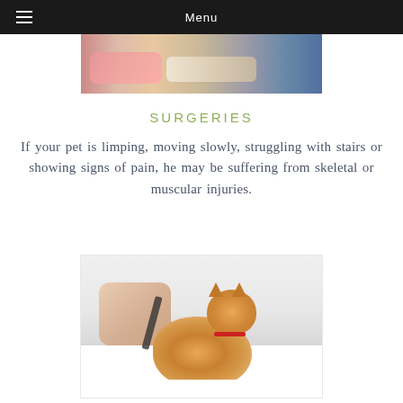Menu
[Figure (photo): Close-up photo of a pet's paw or cast on an examination table, partial view]
SURGERIES
If your pet is limping, moving slowly, struggling with stairs or showing signs of pain, he may be suffering from skeletal or muscular injuries.
[Figure (photo): Veterinarian in white coat using a stethoscope to examine a small orange/ginger kitten on a white surface]